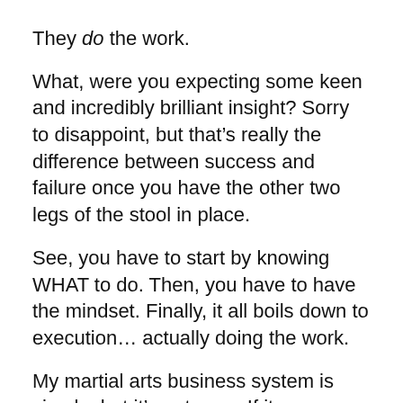They do the work.
What, were you expecting some keen and incredibly brilliant insight? Sorry to disappoint, but that’s really the difference between success and failure once you have the other two legs of the stool in place.
See, you have to start by knowing WHAT to do. Then, you have to have the mindset. Finally, it all boils down to execution… actually doing the work.
My martial arts business system is simple, but it’s not easy. If it were easy, everyone would own a successful school.
But, it’s very do-able. This is one of the few businesses I know of where you can start with nothing – no money, no fancy education, no students, and no place to teach – and build a six-figure income